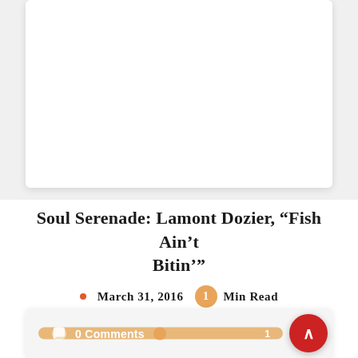[Figure (other): White card/image area at the top of the page, partially visible]
Soul Serenade: Lamont Dozier, “Fish Ain’t Bitin’”
March 31, 2016 • 1 Min Read
Best known as a songwriter/producer, Lamont Dozier also had hits on his own
Ken Shane’s Soul Serenade, Music
[Figure (other): Bottom card area, partially visible, with 0 Comments badge and back-to-top red circle button]